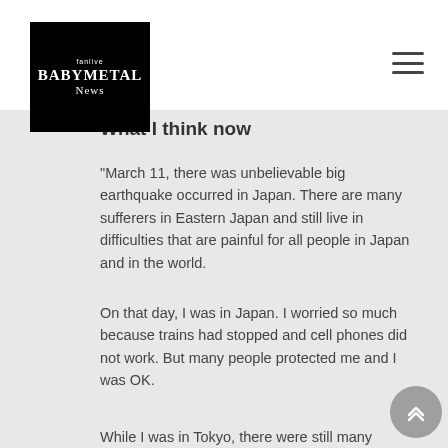fanlive BABYMETAL News
What I think now
"March 11, there was unbelievable big earthquake occurred in Japan. There are many sufferers in Eastern Japan and still live in difficulties that are painful for all people in Japan and in the world.
On that day, I was in Japan. I worried so much because trains had stopped and cell phones did not work. But many people protected me and I was OK.
While I was in Tokyo, there were still many small earthquakes and blackouts. Exchanging mails